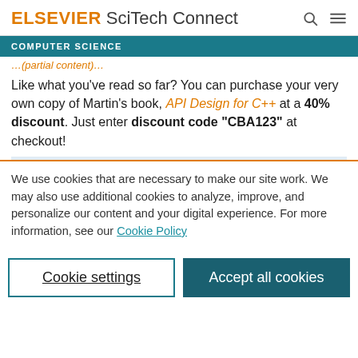ELSEVIER SciTech Connect
COMPUTER SCIENCE
Like what you've read so far? You can purchase your very own copy of Martin's book, API Design for C++ at a 40% discount. Just enter discount code “CBA123” at checkout!
We use cookies that are necessary to make our site work. We may also use additional cookies to analyze, improve, and personalize our content and your digital experience. For more information, see our Cookie Policy
Cookie settings
Accept all cookies